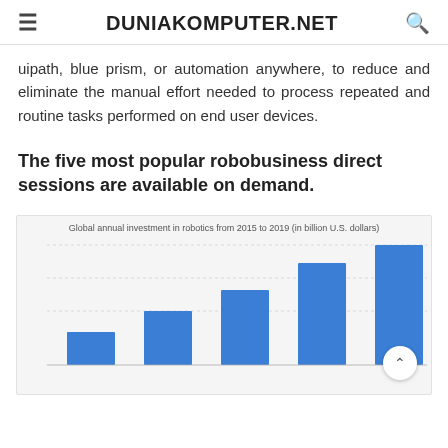DUNIAKOMPUTER.NET
uipath, blue prism, or automation anywhere, to reduce and eliminate the manual effort needed to process repeated and routine tasks performed on end user devices.
The five most popular robobusiness direct sessions are available on demand.
[Figure (bar-chart): Global annual investment in robotics from 2015 to 2019 (in billion U.S. dollars)]